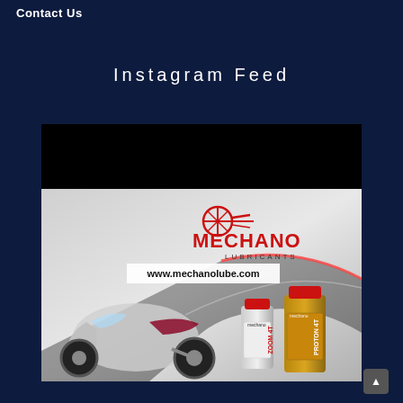Contact Us
Instagram Feed
[Figure (photo): Mechano Lubricants advertisement showing a sports motorcycle on a racetrack with two oil product bottles (Zoom 4T and Proton 4T) and the website www.mechanolube.com]